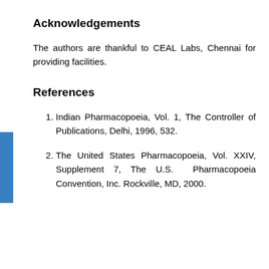Acknowledgements
The authors are thankful to CEAL Labs, Chennai for providing facilities.
References
Indian Pharmacopoeia, Vol. 1, The Controller of Publications, Delhi, 1996, 532.
The United States Pharmacopoeia, Vol. XXIV, Supplement 7, The U.S. Pharmacopoeia Convention, Inc. Rockville, MD, 2000.